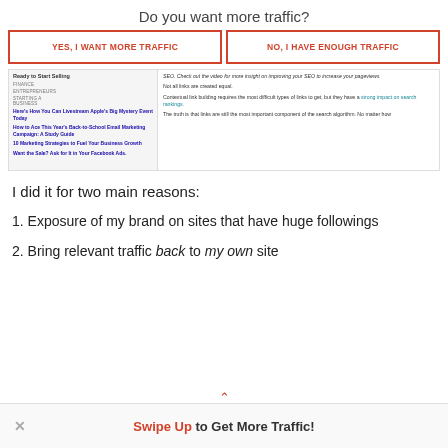Do you want more traffic?
[Figure (screenshot): Two CTA buttons: YES, I WANT MORE TRAFFIC and NO, I HAVE ENOUGH TRAFFIC with orange borders]
[Figure (screenshot): Screenshot of a website showing navigation categories (FINANCE, ENTREPRENEURS, STARTING A BUSINESS) with article links, and article body text about SEO and link building]
I did it for two main reasons:
1. Exposure of my brand on sites that have huge followings
2. Bring relevant traffic back to my own site
Swipe Up to Get More Traffic!